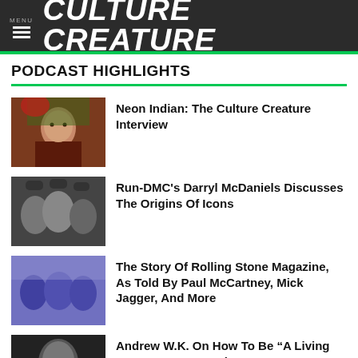CULTURE CREATURE
PODCAST HIGHLIGHTS
Neon Indian: The Culture Creature Interview
Run-DMC's Darryl McDaniels Discusses The Origins Of Icons
The Story Of Rolling Stone Magazine, As Told By Paul McCartney, Mick Jagger, And More
Andrew W.K. On How To Be “A Living Monument to Partying”